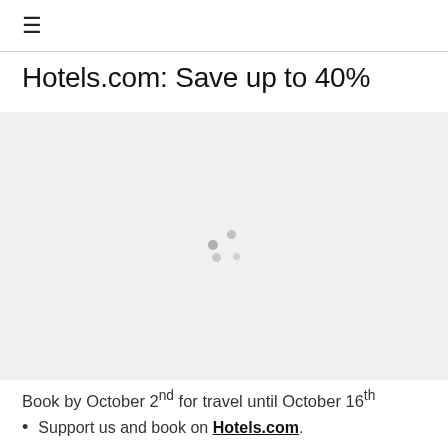☰
Hotels.com: Save up to 40%
[Figure (other): Loading spinner with grey dots indicating content is loading]
Book by October 2nd for travel until October 16th
Support us and book on Hotels.com.